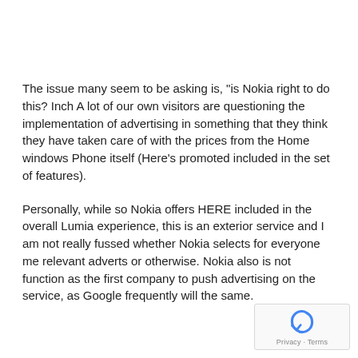The issue many seem to be asking is, "is Nokia right to do this? Inch A lot of our own visitors are questioning the implementation of advertising in something that they think they have taken care of with the prices from the Home windows Phone itself (Here's promoted included in the set of features).
Personally, while so Nokia offers HERE included in the overall Lumia experience, this is an exterior service and I am not really fussed whether Nokia selects for everyone me relevant adverts or otherwise. Nokia also is not function as the first company to push advertising on the service, as Google frequently will the same.